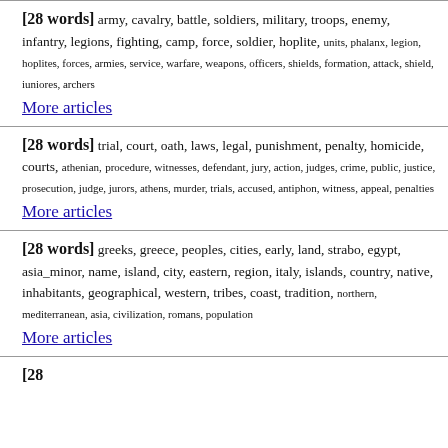[28 words] army, cavalry, battle, soldiers, military, troops, enemy, infantry, legions, fighting, camp, force, soldier, hoplite, units, phalanx, legion, hoplites, forces, armies, service, warfare, weapons, officers, shields, formation, attack, shield, iuniores, archers More articles
[28 words] trial, court, oath, laws, legal, punishment, penalty, homicide, courts, athenian, procedure, witnesses, defendant, jury, action, judges, crime, public, justice, prosecution, judge, jurors, athens, murder, trials, accused, antiphon, witness, appeal, penalties More articles
[28 words] greeks, greece, peoples, cities, early, land, strabo, egypt, asia_minor, name, island, city, eastern, region, italy, islands, country, native, inhabitants, geographical, western, tribes, coast, tradition, northern, mediterranean, asia, civilization, romans, population More articles
[28 words] ...